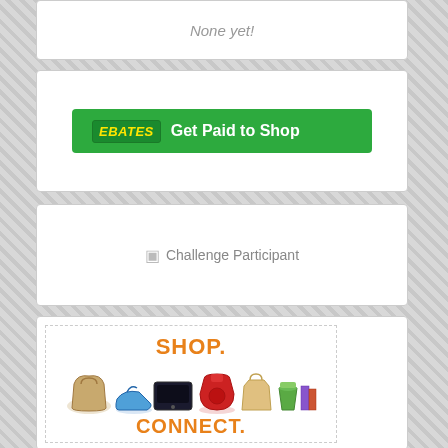None yet!
[Figure (logo): Ebates 'Get Paid to Shop' green banner button]
[Figure (other): Broken image placeholder labeled 'Challenge Participant']
[Figure (advertisement): Advertisement showing 'SHOP.' in orange with product images (handbag, PS3, KitchenAid mixer, shoes, smoothie, books) and 'CONNECT.' text below in orange]